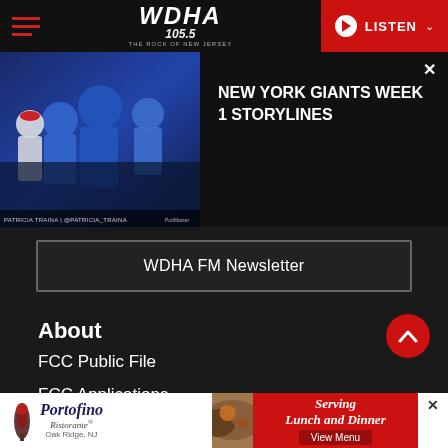WDHA 105.5 - THE ROCK OF NEW JERSEY | LISTEN
[Figure (screenshot): Video thumbnail showing New York Giants football sideline scene with coaches and players in blue uniforms. Credit line: PATRICIA TRAINA | @PATRICIA_TRAINA]
NEW YORK GIANTS WEEK 1 STORYLINES
WDHA FM Newsletter
About
FCC Public File
FCC Applications
Privacy Policy
[Figure (advertisement): Portofino Ristorante ad banner - Serving Lunch and Dinner - Oak Ridge, NJ - View Menu]